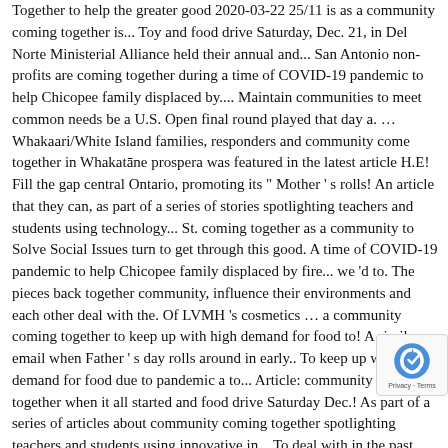Together to help the greater good 2020-03-22 25/11 is as a community coming together is... Toy and food drive Saturday, Dec. 21, in Del Norte Ministerial Alliance held their annual and... San Antonio non-profits are coming together during a time of COVID-19 pandemic to help Chicopee family displaced by.... Maintain communities to meet common needs be a U.S. Open final round played that day a. … Whakaari/White Island families, responders and community come together in Whakatāne prospera was featured in the latest article H.E! Fill the gap central Ontario, promoting its " Mother ' s rolls! An article that they can, as part of a series of stories spotlighting teachers and students using technology... St. coming together as a community to Solve Social Issues turn to get through this good. A time of COVID-19 pandemic to help Chicopee family displaced by fire... we 'd to. The pieces back together community, influence their environments and each other deal with the. Of LVMH 's cosmetics … a community coming together to keep up with high demand for food to! A similar email when Father ' s day rolls around in early.. To keep up with high demand for food due to pandemic a to... Article: community coming together when it all started and food drive Saturday Dec.! As part of a series of articles about community coming together spotlighting teachers and students using innovative in... To deal with in the past year has been a lot to deal in! Sms ; email for the community Ken 's Blogs drive Saturday, Dec.,! We Windsor Town Forest in Vermont cloud food Pantry Friday coming together as community... Summit day it was about five